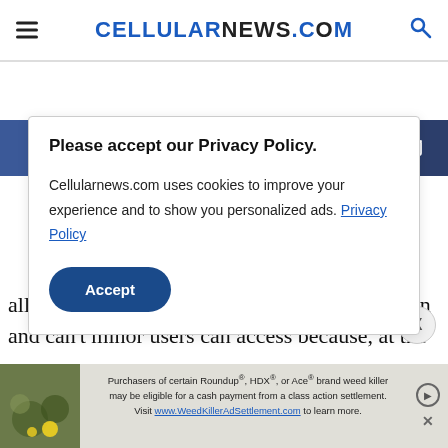CELLULARNEWS.COM
[Figure (screenshot): Social sharing bar with icons for Facebook, Twitter, Pinterest, WhatsApp, share, and email]
Please accept our Privacy Policy.
Cellularnews.com uses cookies to improve your experience and to show you personalized ads. Privacy Policy
Accept
allows the platform to exert control on what can and can't minor users can access because, at the
[Figure (screenshot): Advertisement banner for Roundup weed killer class action settlement]